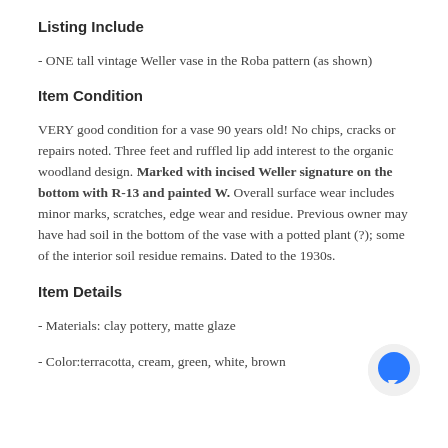Listing Include
- ONE tall vintage Weller vase in the Roba pattern (as shown)
Item Condition
VERY good condition for a vase 90 years old! No chips, cracks or repairs noted. Three feet and ruffled lip add interest to the organic woodland design. Marked with incised Weller signature on the bottom with R-13 and painted W. Overall surface wear includes minor marks, scratches, edge wear and residue. Previous owner may have had soil in the bottom of the vase with a potted plant (?); some of the interior soil residue remains. Dated to the 1930s.
Item Details
- Materials: clay pottery, matte glaze
- Color:terracotta, cream, green, white, brown